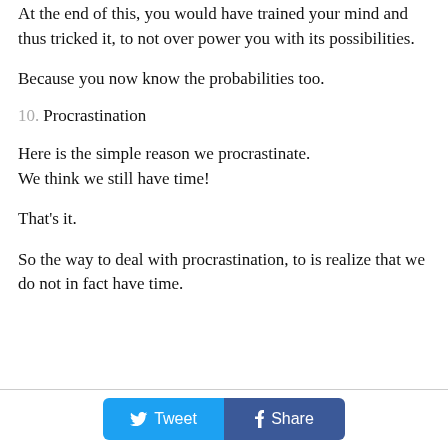At the end of this, you would have trained your mind and thus tricked it, to not over power you with its possibilities.
Because you now know the probabilities too.
10. Procrastination
Here is the simple reason we procrastinate.
We think we still have time!
That's it.
So the way to deal with procrastination, to is realize that we do not in fact have time.
Tweet  Share